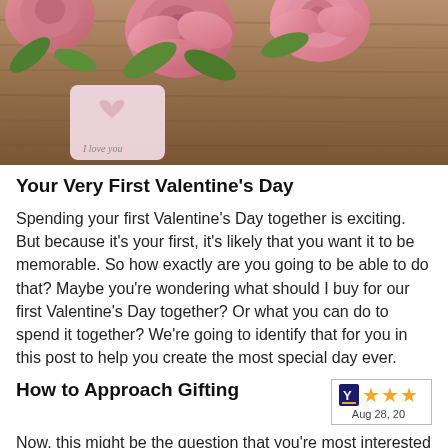[Figure (photo): Photo of pink roses and a heart-shaped pink decoration with 'I love you' text on a wooden surface]
Your Very First Valentine's Day
Spending your first Valentine's Day together is exciting. But because it's your first, it's likely that you want it to be memorable. So how exactly are you going to be able to do that? Maybe you're wondering what should I buy for our first Valentine's Day together? Or what you can do to spend it together? We're going to identify that for you in this post to help you create the most special day ever.
How to Approach Gifting
[Figure (other): Rating widget showing 3 stars and date Aug 28, 20XX]
Now, this might be the question that you're most interested in. You may find that you are just not sure